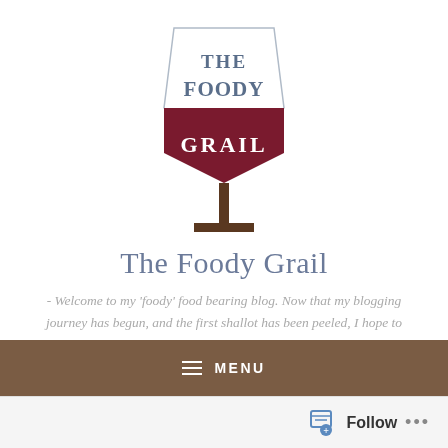[Figure (logo): The Foody Grail logo: a wine glass shape with a white upper pentagon section containing 'THE FOODY' in dark blue/slate text, and a dark maroon/burgundy lower shield section containing 'GRAIL' in white text. The glass stem and base are rendered in dark brown.]
The Foody Grail
- Welcome to my 'foody' food bearing blog. Now that my blogging journey has begun, and the first shallot has been peeled, I hope to inspire kitchen creatives in a quest to find their 'foody grail'. All recipes are my own as are the images. -
≡ MENU
Follow ...